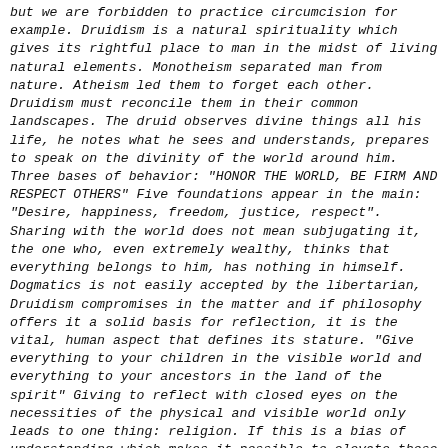but we are forbidden to practice circumcision for example. Druidism is a natural spirituality which gives its rightful place to man in the midst of living natural elements. Monotheism separated man from nature. Atheism led them to forget each other. Druidism must reconcile them in their common landscapes. The druid observes divine things all his life, he notes what he sees and understands, prepares to speak on the divinity of the world around him. Three bases of behavior: "HONOR THE WORLD, BE FIRM AND RESPECT OTHERS" Five foundations appear in the main: "Desire, happiness, freedom, justice, respect". Sharing with the world does not mean subjugating it, the one who, even extremely wealthy, thinks that everything belongs to him, has nothing in himself. Dogmatics is not easily accepted by the libertarian, Druidism compromises in the matter and if philosophy offers it a solid basis for reflection, it is the vital, human aspect that defines its stature. "Give everything to your children in the visible world and everything to your ancestors in the land of the spirit" Giving to reflect with closed eyes on the necessities of the physical and visible world only leads to one thing: religion. If this is a bias of understanding which makes it possible to elevate those who do not have direct access to knowledge, religion turns out to be a way of existing, which in its precepts, can offer a deprivation of freedom of thought. and to exist. This is why, even if we need a dogma, it must never be completely in possession of the natural environment in which it develops, it is necessary for it, it is a tool which in my opinion must denounce the